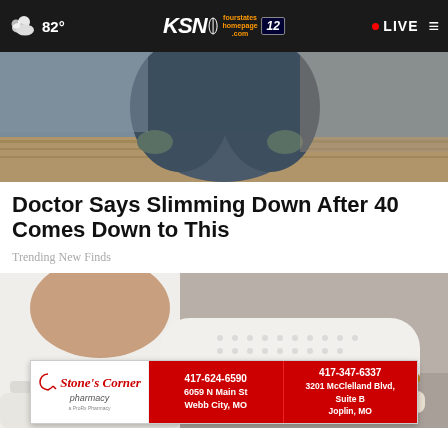82° KSN fourstates homepage .com 12 • LIVE
[Figure (photo): Close-up photo of a person in dark gray athletic pants/leggings sitting or crouching on a wooden surface outdoors]
Doctor Says Slimming Down After 40 Comes Down to This
Trending New Finds
[Figure (photo): Close-up photo of a person wearing white pants and a white perforated sneaker with gold/tan stripe detail, standing on pavement]
[Figure (other): Stone's Corner Pharmacy advertisement banner. Left side: logo. Middle red section: 417-624-6590, 6059 N Main St, Webb City, MO. Right red section: 417-347-6337, 3201 McClelland Blvd, Suite B, Joplin, MO]